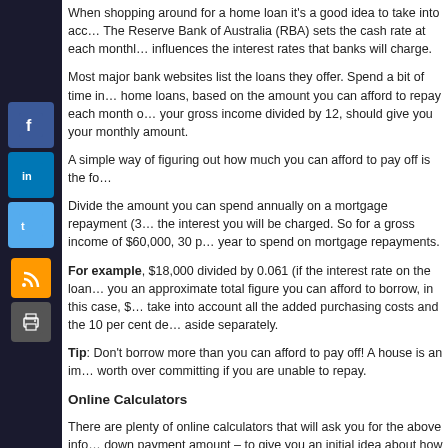When shopping around for a home loan it's a good idea to take into account the current interest rate. The Reserve Bank of Australia (RBA) sets the cash rate at each monthly board meeting and this largely influences the interest rates that banks will charge.
Most major bank websites list the loans they offer. Spend a bit of time investigating the range of home loans, based on the amount you can afford to repay each month or year. 30 per cent of your gross income divided by 12, should give you your monthly amount.
A simple way of figuring out how much you can afford to pay off is the fo…
Divide the amount you can spend annually on a mortgage repayment (30 per cent of gross income) by the interest you will be charged. So for a gross income of $60,000, 30 p… year to spend on mortgage repayments.
For example, $18,000 divided by 0.061 (if the interest rate on the loan… you an approximate total figure you can afford to borrow, in this case, $… take into account all the added purchasing costs and the 10 per cent de… aside separately.
Tip: Don't borrow more than you can afford to pay off! A house is an imp… worth over committing if you are unable to repay.
Online Calculators
There are plenty of online calculators that will ask you for the above info… down payment amount – to give you an initial idea about how much hou…
Make sure you find a site that is Australian and specific to your state if it…